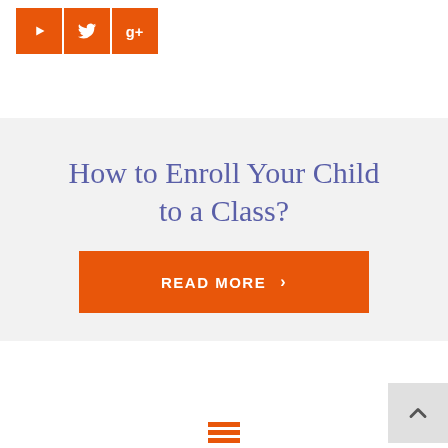[Figure (other): Three orange square social media icon buttons: YouTube (play triangle), Twitter (bird), and Google+ (g+ logo)]
How to Enroll Your Child to a Class?
READ MORE ›
[Figure (other): Orange hamburger menu icon (three horizontal bars)]
[Figure (other): Gray back-to-top button with upward chevron arrow]